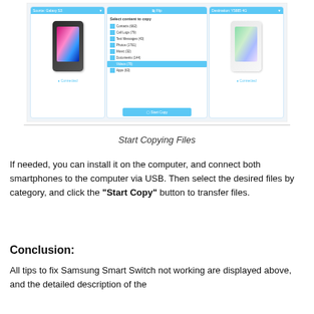[Figure (screenshot): Screenshot of Samsung Smart Switch app showing two phones connected (Source: Galaxy S3 on left, Destination: Y5885 4G on right) with a list of content types to copy including Contacts, Call Logs, Text Messages, Photos, Music, Documents, Videos (highlighted), Apps, and a 'Start Copy' button in the middle panel.]
Start Copying Files
If needed, you can install it on the computer, and connect both smartphones to the computer via USB. Then select the desired files by category, and click the "Start Copy" button to transfer files.
Conclusion:
All tips to fix Samsung Smart Switch not working are displayed above, and the detailed description of the